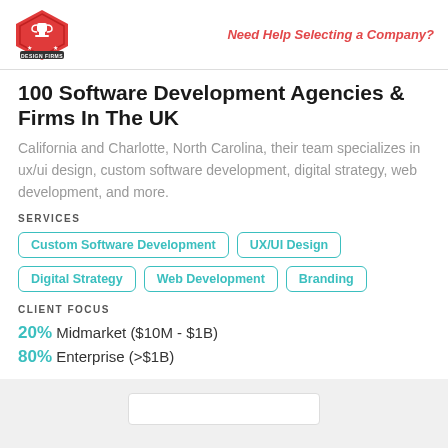[Figure (logo): Top Design Firms logo - red hexagon badge with trophy icon and banner]
Need Help Selecting a Company?
100 Software Development Agencies & Firms In The UK
California and Charlotte, North Carolina, their team specializes in ux/ui design, custom software development, digital strategy, web development, and more.
SERVICES
Custom Software Development
UX/UI Design
Digital Strategy
Web Development
Branding
CLIENT FOCUS
20% Midmarket ($10M - $1B)
80% Enterprise (>$1B)